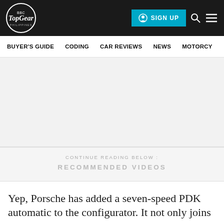Top Gear Philippines — SIGN UP | BUYER'S GUIDE | CODING | CAR REVIEWS | NEWS | MOTORCY
[Figure (other): Advertisement / blank gray area]
CONTINUE READING BELOW :
RECOMMENDED VIDEOS
Yep, Porsche has added a seven-speed PDK automatic to the configurator. It not only joins